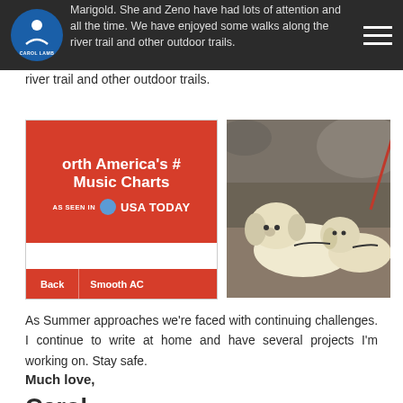Carol [logo] — navigation bar with hamburger menu
Marigold. She and Zeno have had lots of attention all the time.  We have enjoyed some walks along the river trail and other outdoor trails.
[Figure (screenshot): Music chart website screenshot showing 'North America's # Music Charts' on red background with USA TODAY logo and Back / Smooth AC navigation buttons]
[Figure (photo): Two white/cream fluffy dogs (one large, one smaller) sitting outdoors on a dirt trail with rocks in background, wearing harnesses]
As Summer approaches we're faced with continuing challenges. I continue to write at home and have several projects I'm working on.  Stay safe.
Much love,
Carol